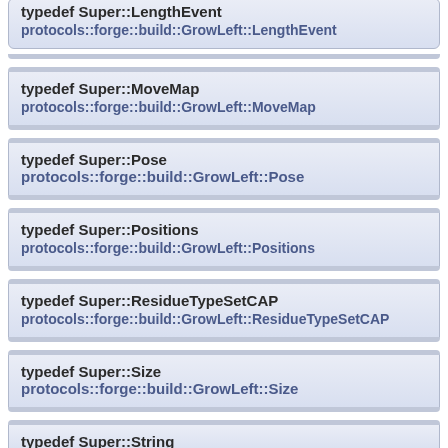typedef Super::LengthEvent protocols::forge::build::GrowLeft::LengthEvent
typedef Super::MoveMap protocols::forge::build::GrowLeft::MoveMap
typedef Super::Pose protocols::forge::build::GrowLeft::Pose
typedef Super::Positions protocols::forge::build::GrowLeft::Positions
typedef Super::ResidueTypeSetCAP protocols::forge::build::GrowLeft::ResidueTypeSetCAP
typedef Super::Size protocols::forge::build::GrowLeft::Size
typedef Super::String